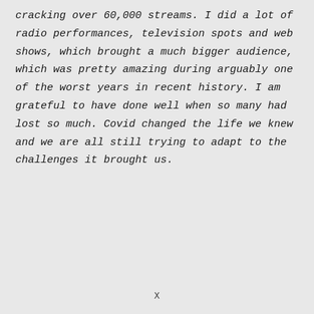cracking over 60,000 streams. I did a lot of radio performances, television spots and web shows, which brought a much bigger audience, which was pretty amazing during arguably one of the worst years in recent history. I am grateful to have done well when so many had lost so much. Covid changed the life we knew and we are all still trying to adapt to the challenges it brought us.
X